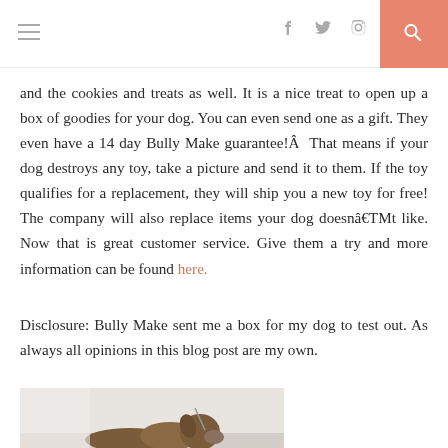[navigation header with hamburger menu, social icons, and search button]
and the cookies and treats as well. It is a nice treat to open up a box of goodies for your dog. You can even send one as a gift. They even have a 14 day Bully Make guarantee!Â  That means if your dog destroys any toy, take a picture and send it to them. If the toy qualifies for a replacement, they will ship you a new toy for free! The company will also replace items your dog doesnâ€TMt like. Now that is great customer service. Give them a try and more information can be found here.
Disclosure: Bully Make sent me a box for my dog to test out. As always all opinions in this blog post are my own.
[Figure (photo): Photo of a dog, partially visible at the bottom of the page]